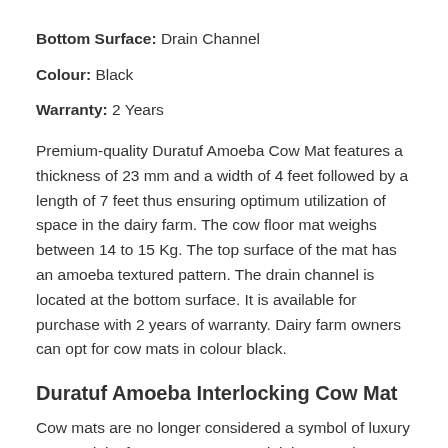Bottom Surface: Drain Channel
Colour: Black
Warranty: 2 Years
Premium-quality Duratuf Amoeba Cow Mat features a thickness of 23 mm and a width of 4 feet followed by a length of 7 feet thus ensuring optimum utilization of space in the dairy farm. The cow floor mat weighs between 14 to 15 Kg. The top surface of the mat has an amoeba textured pattern. The drain channel is located at the bottom surface. It is available for purchase with 2 years of warranty. Dairy farm owners can opt for cow mats in colour black.
Duratuf Amoeba Interlocking Cow Mat
Cow mats are no longer considered a symbol of luxury among dairy farm owners. Instead, it is now a key necessity